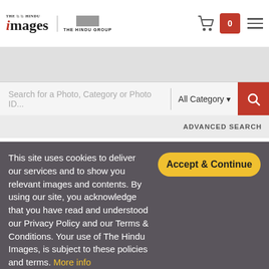THE HINDU Images | THE HINDU GROUP
Search for a Photo, Category or Photo ID...
All Category
ADVANCED SEARCH
KOTHANDARAMAR_TEMPLE_02JPG
This site uses cookies to deliver our services and to show you relevant images and contents. By using our site, you acknowledge that you have read and understood our Privacy Policy and our Terms & Conditions. Your use of The Hindu Images, is subject to these policies and terms. More info